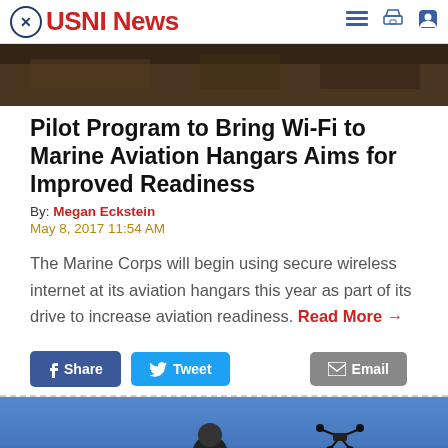USNI News
[Figure (photo): Dark interior photo of aviation hangar or workshop area]
Pilot Program to Bring Wi-Fi to Marine Aviation Hangars Aims for Improved Readiness
By: Megan Eckstein
May 8, 2017 11:54 AM
The Marine Corps will begin using secure wireless internet at its aviation hangars this year as part of its drive to increase aviation readiness. Read More →
[Figure (photo): Soldier with drone in blue sky background]